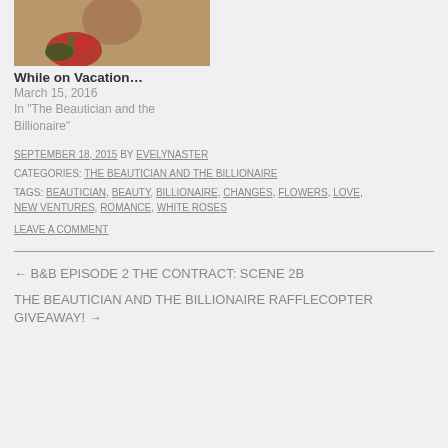[Figure (photo): Photo of a person holding a red rose, partial view]
While on Vacation…
March 15, 2016
In "The Beautician and the Billionaire"
SEPTEMBER 18, 2015 BY EVELYNASTER
CATEGORIES: THE BEAUTICIAN AND THE BILLIONAIRE
TAGS: BEAUTICIAN, BEAUTY, BILLIONAIRE, CHANGES, FLOWERS, LOVE, NEW VENTURES, ROMANCE, WHITE ROSES
LEAVE A COMMENT
← B&B EPISODE 2 THE CONTRACT: SCENE 2B
THE BEAUTICIAN AND THE BILLIONAIRE RAFFLECOPTER GIVEAWAY! →